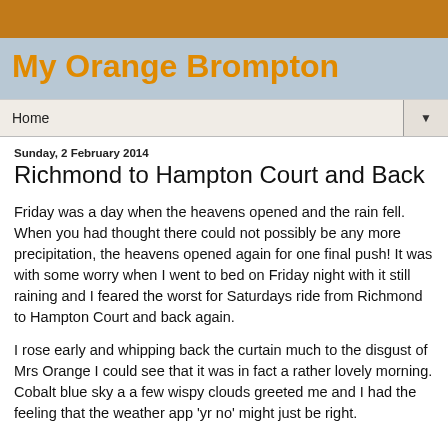My Orange Brompton
Home ▼
Sunday, 2 February 2014
Richmond to Hampton Court and Back
Friday was a day when the heavens opened and the rain fell. When you had thought there could not possibly be any more precipitation, the heavens opened again for one final push! It was with some worry when I went to bed on Friday night with it still raining and I feared the worst for Saturdays ride from Richmond to Hampton Court and back again.
I rose early and whipping back the curtain much to the disgust of Mrs Orange I could see that it was in fact a rather lovely morning. Cobalt blue sky a a few wispy clouds greeted me and I had the feeling that the weather app 'yr no' might just be right.